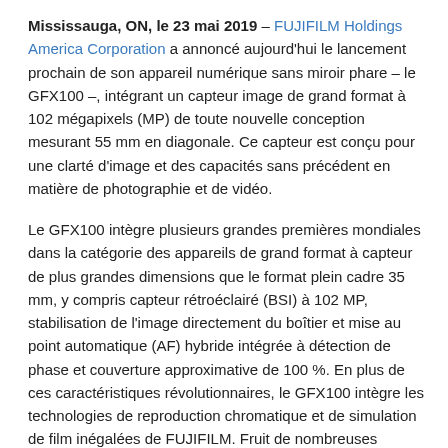Mississauga, ON, le 23 mai 2019 – FUJIFILM Holdings America Corporation a annoncé aujourd'hui le lancement prochain de son appareil numérique sans miroir phare – le GFX100 –, intégrant un capteur image de grand format à 102 mégapixels (MP) de toute nouvelle conception mesurant 55 mm en diagonale. Ce capteur est conçu pour une clarté d'image et des capacités sans précédent en matière de photographie et de vidéo.
Le GFX100 intègre plusieurs grandes premières mondiales dans la catégorie des appareils de grand format à capteur de plus grandes dimensions que le format plein cadre 35 mm, y compris capteur rétroéclairé (BSI) à 102 MP, stabilisation de l'image directement du boîtier et mise au point automatique (AF) hybride intégrée à détection de phase et couverture approximative de 100 %. En plus de ces caractéristiques révolutionnaires, le GFX100 intègre les technologies de reproduction chromatique et de simulation de film inégalées de FUJIFILM. Fruit de nombreuses années de recherche et d'innovations technologiques, le GFX100 offre aux